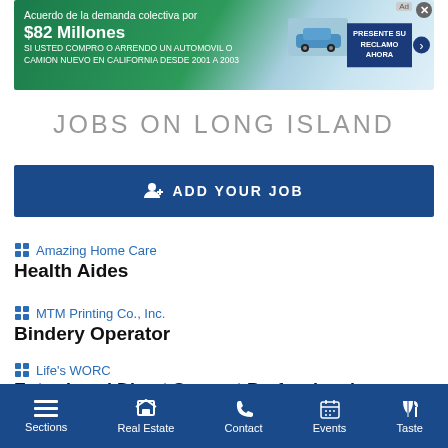[Figure (screenshot): Advertisement banner: 'Acuerdo de la demanda colectiva por $82 Millones SI USTED COMPRO O ARRENDO UN AUTOMOVIL O CAMION NUEVO EN CALIFORNIA DESDE 2001 A 2003' with a car image and 'PRESENTE SU RECLAMO AHORA' call-to-action button]
JOBS ON LONG ISLAND
ADD YOUR JOB
Amazing Home Care
Health Aides
MTM Printing Co., Inc.
Bindery Operator
Life's WORC
Entry-Level Direct Support Professionals
Sections | Real Estate | Contact | Events | Taste